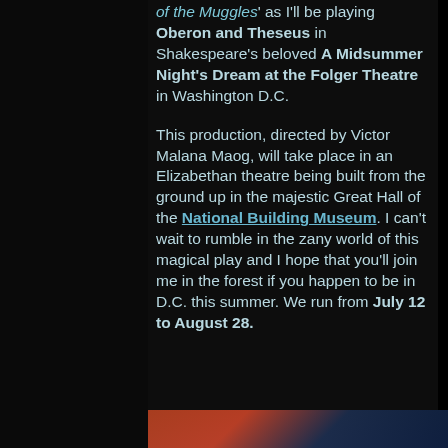of the Muggles as I'll be playing Oberon and Theseus in Shakespeare's beloved A Midsummer Night's Dream at the Folger Theatre in Washington D.C.
This production, directed by Victor Malana Maog, will take place in an Elizabethan theatre being built from the ground up in the majestic Great Hall of the National Building Museum. I can't wait to rumble in the zany world of this magical play and I hope that you'll join me in the forest if you happen to be in D.C. this summer. We run from July 12 to August 28.
[Figure (illustration): Bottom decorative strip with colorful illustration, partially visible at the bottom of the page]